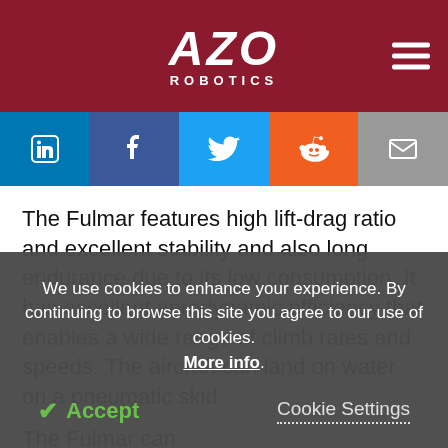AZO ROBOTICS
[Figure (infographic): Social media share buttons: LinkedIn, Facebook, Twitter, Reddit, Email]
The Fulmar features high lift-drag ratio and excellent stability and also long endurance due to its low consumption. It has excellent aerodynamic efficiency that enables a wide range of climb rates and speeds. The aircraft can land on water on a pneumatic skid.
The Fulmar can...
We use cookies to enhance your experience. By continuing to browse this site you agree to our use of cookies. More info.
Accept   Cookie Settings